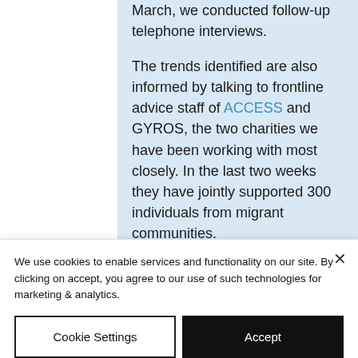March, we conducted follow-up telephone interviews.

The trends identified are also informed by talking to frontline advice staff of ACCESS and GYROS, the two charities we have been working with most closely. In the last two weeks they have jointly supported 300 individuals from migrant communities.

The farming sector has long been
We use cookies to enable services and functionality on our site. By clicking on accept, you agree to our use of such technologies for marketing & analytics.